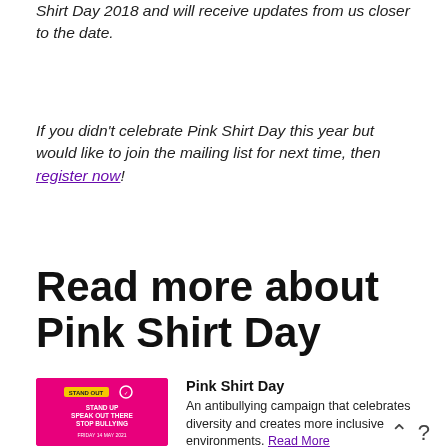Shirt Day 2018 and will receive updates from us closer to the date.
If you didn't celebrate Pink Shirt Day this year but would like to join the mailing list for next time, then register now!
Read more about Pink Shirt Day
[Figure (illustration): Pink square image for Pink Shirt Day campaign with text 'STAND UP, SPEAK OUT, STOP BULLYING, FRIDAY 14 MAY 2021']
Pink Shirt Day
An antibullying campaign that celebrates diversity and creates more inclusive environments. Read More